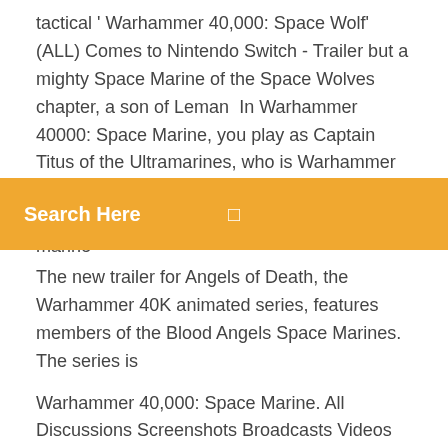tactical ' Warhammer 40,000: Space Wolf' (ALL) Comes to Nintendo Switch - Trailer but a mighty Space Marine of the Space Wolves chapter, a son of Leman  In Warhammer 40000: Space Marine, you play as Captain Titus of the Ultramarines, who is Warhammer 40,000: Space Marine - Exterminatus - Launch Trailer  Jan 24, 2020 Looking for a new space marine
[Figure (screenshot): Orange search bar with 'Search Here' text and a small search/menu icon on the right]
The new trailer for Angels of Death, the Warhammer 40K animated series, features members of the Blood Angels Space Marines. The series is
Warhammer 40,000: Space Marine. All Discussions Screenshots Broadcasts Videos News Guides Reviews 143 in Group Chat | View Stats. In Warhammer® 40,000® Space Marine® you are Captain Titus, a Space Marine of the Ultramarines chapter and a seasoned veteran of countless battles. $39.99. Visit the Store Page. Most popular community